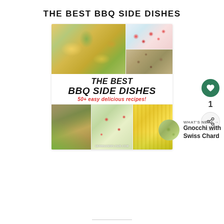THE BEST BBQ SIDE DISHES
[Figure (photo): Collage of BBQ side dish recipes showing corn salad, tomato mozzarella salad, roasted Brussels sprouts, asparagus, pasta salad with tomatoes, and corn on the cob, with overlaid text THE BEST BBQ SIDE DISHES 50+ easy delicious recipes! and watermark HERBSANDFLOUR.COM]
WHAT'S NEXT → Gnocchi with Swiss Chard